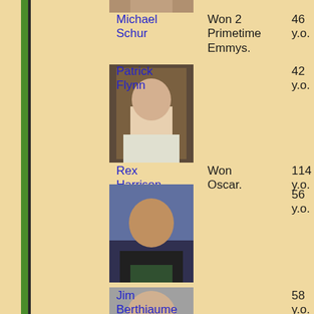[Figure (photo): Partial photo at top (Michael Schur), cropped]
Michael Schur
Won 2 Primetime Emmys.
46 y.o.
[Figure (photo): Photo of Patrick Flynn, man in light-colored shirt]
Patrick Flynn
42 y.o.
Rex Harrison
Won Oscar.
114 y.o.
[Figure (photo): Photo of Kamal Ahmed, man in black shirt]
Kamal Ahmed
56 y.o.
[Figure (photo): Partial photo at bottom (Jim Berthiaume), cropped]
Jim Berthiaume
58 y.o.